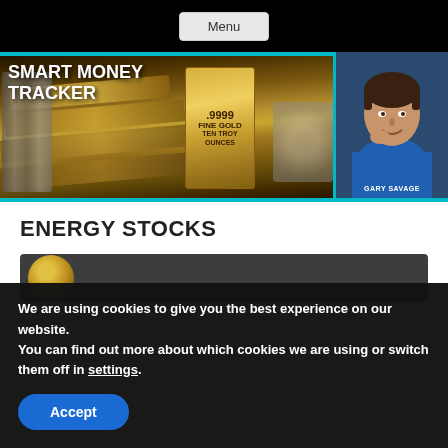Menu
[Figure (photo): Smart Money Tracker banner with gold bars, .9999 Fine Gold Ten Troy Ounces label, and a photo of Gary Savage on the right side with teal border accents]
ENERGY STOCKS
[Figure (screenshot): Article card with gold coin icon on dark grey background]
We are using cookies to give you the best experience on our website.
You can find out more about which cookies we are using or switch them off in settings.
Accept